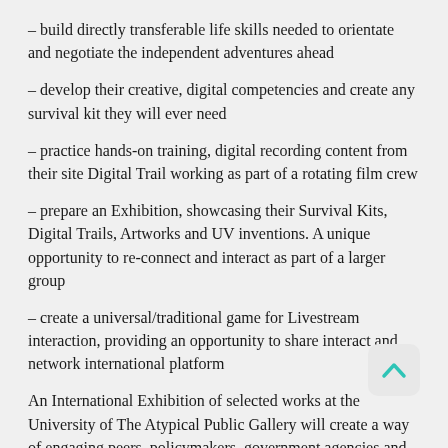– build directly transferable life skills needed to orientate and negotiate the independent adventures ahead
– develop their creative, digital competencies and create any survival kit they will ever need
– practice hands-on training, digital recording content from their site Digital Trail working as part of a rotating film crew
– prepare an Exhibition, showcasing their Survival Kits, Digital Trails, Artworks and UV inventions. A unique opportunity to re-connect and interact as part of a larger group
– create a universal/traditional game for Livestream interaction, providing an opportunity to share interact and network international platform
An International Exhibition of selected works at the University of The Atypical Public Gallery will create a way of engaging peers, policymakers, government agencies and creating a
new international audience and online presence – transforming individual and collective narratives; establishing them as